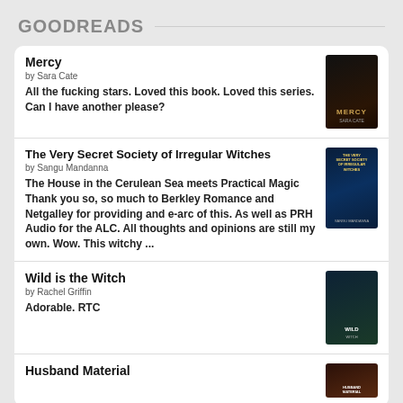GOODREADS
Mercy
by Sara Cate
All the fucking stars. Loved this book. Loved this series. Can I have another please?
The Very Secret Society of Irregular Witches
by Sangu Mandanna
The House in the Cerulean Sea meets Practical Magic Thank you so, so much to Berkley Romance and Netgalley for providing and e-arc of this. As well as PRH Audio for the ALC. All thoughts and opinions are still my own. Wow. This witchy ...
Wild is the Witch
by Rachel Griffin
Adorable. RTC
Husband Material